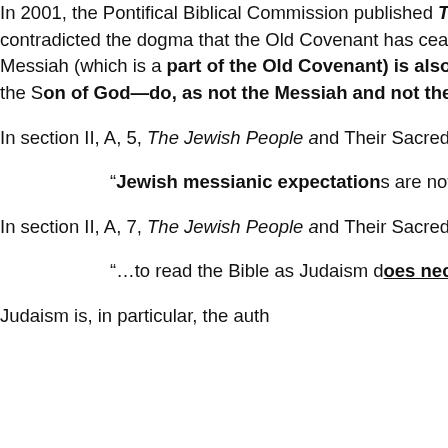In 2001, the Pontifical Biblical Commission published The Jewish People and Their Sacred Scriptures in the Christian Bible. It contradicted the dogma that the Old Covenant has ceased to be valid. It stated that it is still valid, and that the Jews' wait for the Messiah (which is a part of the Old Covenant) is also still valid—that Jews are not to be seen as the prophesied Messiah and not the Son of God.
In section II, A, 5, The Jewish People and Their Sacred Scriptures in the Christian Bible states:
“Jewish messianic expectations are not in vain”
In section II, A, 7, The Jewish People and Their Sacred Scriptures in the Christian Bible states:
“…to read the Bible as Judaism does necessarily implies acceptance of all its presuppositions”
Judaism is, in particular, the author’s own religious tradition.